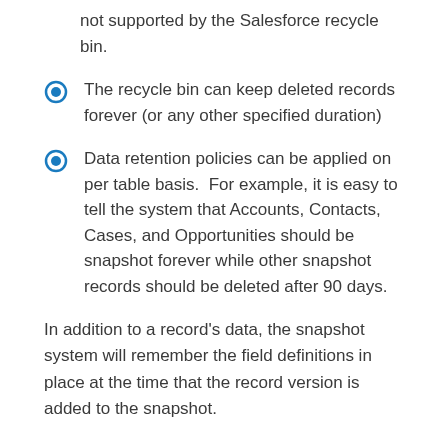not supported by the Salesforce recycle bin.
The recycle bin can keep deleted records forever (or any other specified duration)
Data retention policies can be applied on per table basis.  For example, it is easy to tell the system that Accounts, Contacts, Cases, and Opportunities should be snapshot forever while other snapshot records should be deleted after 90 days.
In addition to a record's data, the snapshot system will remember the field definitions in place at the time that the record version is added to the snapshot.
Permanent Record Deletion in Salesforce
Sometimes it makes sense to delete old records from Salesforce but the records still need to be kept around